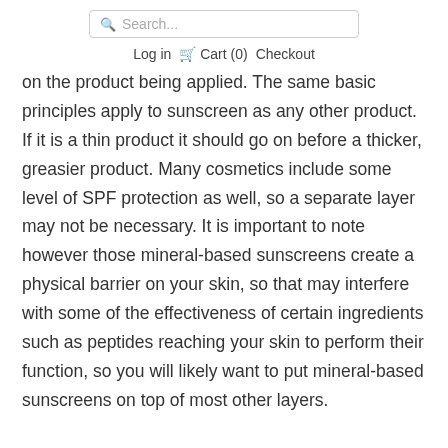Search...  Log in  Cart (0)  Checkout
on the product being applied. The same basic principles apply to sunscreen as any other product. If it is a thin product it should go on before a thicker, greasier product. Many cosmetics include some level of SPF protection as well, so a separate layer may not be necessary. It is important to note however those mineral-based sunscreens create a physical barrier on your skin, so that may interfere with some of the effectiveness of certain ingredients such as peptides reaching your skin to perform their function, so you will likely want to put mineral-based sunscreens on top of most other layers.